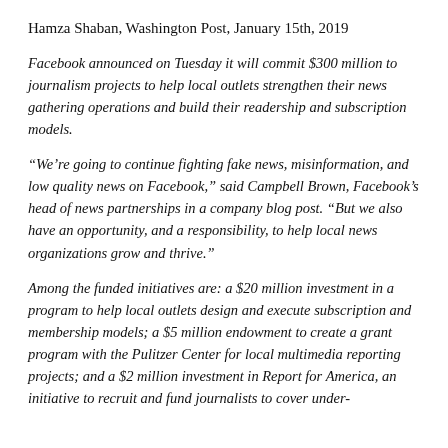Hamza Shaban, Washington Post, January 15th, 2019
Facebook announced on Tuesday it will commit $300 million to journalism projects to help local outlets strengthen their news gathering operations and build their readership and subscription models.
“We’re going to continue fighting fake news, misinformation, and low quality news on Facebook,” said Campbell Brown, Facebook’s head of news partnerships in a company blog post. “But we also have an opportunity, and a responsibility, to help local news organizations grow and thrive.”
Among the funded initiatives are: a $20 million investment in a program to help local outlets design and execute subscription and membership models; a $5 million endowment to create a grant program with the Pulitzer Center for local multimedia reporting projects; and a $2 million investment in Report for America, an initiative to recruit and fund journalists to cover under-